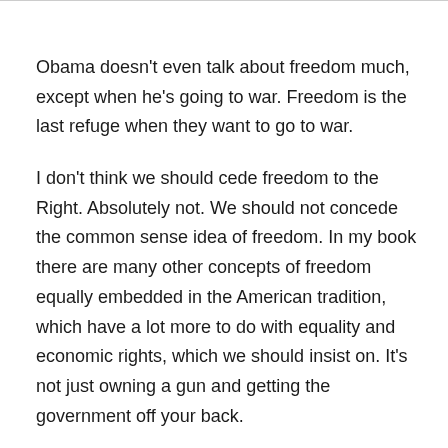Obama doesn't even talk about freedom much, except when he's going to war. Freedom is the last refuge when they want to go to war.
I don't think we should cede freedom to the Right. Absolutely not. We should not concede the common sense idea of freedom. In my book there are many other concepts of freedom equally embedded in the American tradition, which have a lot more to do with equality and economic rights, which we should insist on. It's not just owning a gun and getting the government off your back.